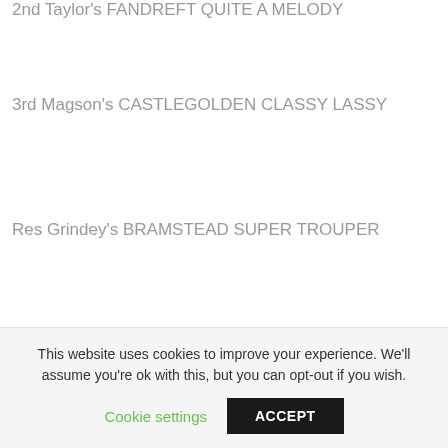2nd Taylor's FANDREFT QUITE A MELODY
3rd Magson's CASTLEGOLDEN CLASSY LASSY
Res Grindey's BRAMSTEAD SUPER TROUPER
Vbs Moodley's MALTOUROS MISS NORDIC ISLA
This website uses cookies to improve your experience. We'll assume you're ok with this, but you can opt-out if you wish.
Cookie settings
ACCEPT